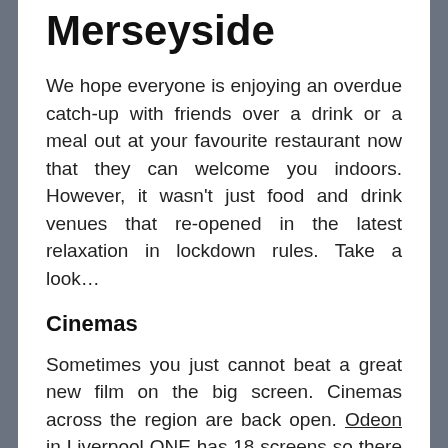Merseyside
We hope everyone is enjoying an overdue catch-up with friends over a drink or a meal out at your favourite restaurant now that they can welcome you indoors. However, it wasn't just food and drink venues that re-opened in the latest relaxation in lockdown rules. Take a look…
Cinemas
Sometimes you just cannot beat a great new film on the big screen. Cinemas across the region are back open. Odeon in Liverpool ONE has 18 screens so there is something for